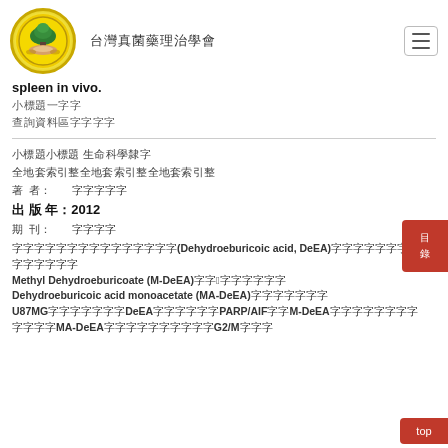台灣真菌藥理治學會 （site title in Chinese）
spleen in vivo.
（Chinese metadata fields）
（Chinese metadata fields）
著 者：（Chinese author name）
出版年月：2012
期 刊：（Chinese journal name）
（Abstract text）(Dehydroeburicoic acid, DeEA)（Chinese text）21（Chinese text）Methyl Dehydroeburicoate (M-DeEA)（Chinese text）3（Chinese text）Dehydroeburicoic acid monoacetate (MA-DeEA)（Chinese text）U87MG（Chinese text）DeEA（Chinese text）PARP/AIF（Chinese text）M-DeEA（Chinese text）MA-DeEA（Chinese text）G2/M（Chinese text）